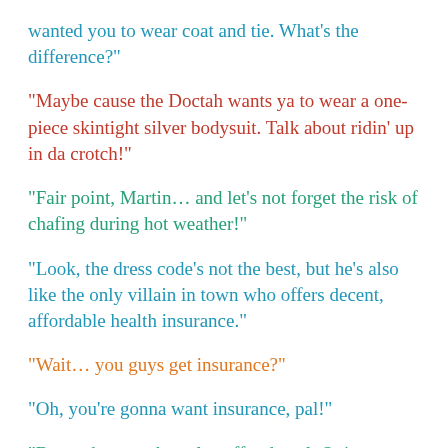“wanted you to wear coat and tie. What’s the difference?”
“Maybe cause the Doctah wants ya to wear a one-piece skintight silver bodysuit. Talk about ridin’ up in da crotch!”
“Fair point, Martin… and let’s not forget the risk of chafing during hot weather!”
“Look, the dress code’s not the best, but he’s also like the only villain in town who offers decent, affordable health insurance.”
“Wait… you guys get insurance?”
“Oh, you’re gonna want insurance, pal!”
“But make sure they also offer dental. Quite